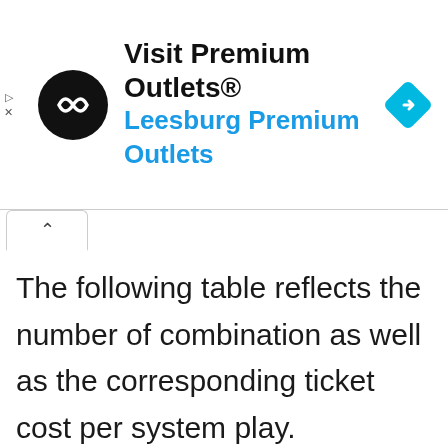[Figure (screenshot): Advertisement banner for Visit Premium Outlets® – Leesburg Premium Outlets, with a black circular logo with double arrow symbol, blue navigation diamond icon on the right, and play/close icons on the left edge.]
The following table reflects the number of combination as well as the corresponding ticket cost per system play.